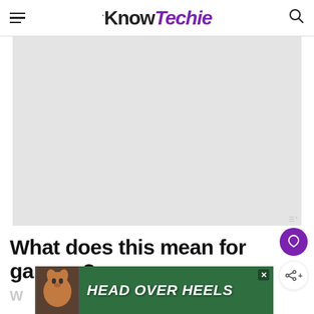KnowTechie
[Figure (other): Gray placeholder rectangle for image/advertisement area]
What does this mean for gamers?
[Figure (other): Bottom banner advertisement with green background showing a dog and text HEAD OVER HEELS]